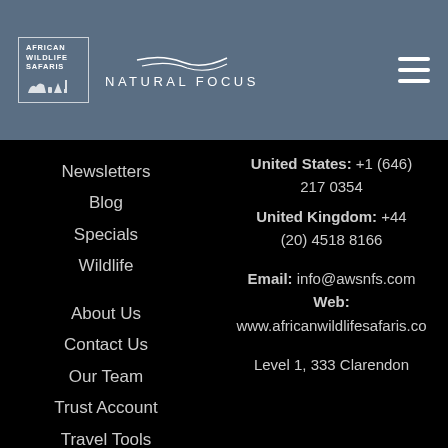[Figure (logo): African Wildlife Safaris and Natural Focus logos on slate blue header bar with hamburger menu icon]
Newsletters
Blog
Specials
Wildlife
About Us
Contact Us
Our Team
Trust Account
Travel Tools
United States: +1 (646) 217 0354
United Kingdom: +44 (20) 4518 8166
Email: info@awsnfs.com
Web: www.africanwildlifesafaris.co
Level 1, 333 Clarendon
Our website uses cookies. Click accept to receive all cookies.
Accept   Privacy policy